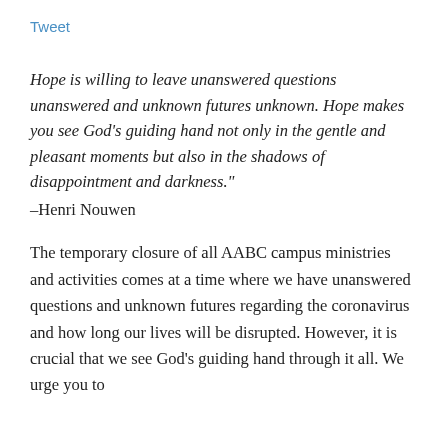Tweet
Hope is willing to leave unanswered questions unanswered and unknown futures unknown. Hope makes you see God's guiding hand not only in the gentle and pleasant moments but also in the shadows of disappointment and darkness."
–Henri Nouwen
The temporary closure of all AABC campus ministries and activities comes at a time where we have unanswered questions and unknown futures regarding the coronavirus and how long our lives will be disrupted. However, it is crucial that we see God's guiding hand through it all. We urge you to